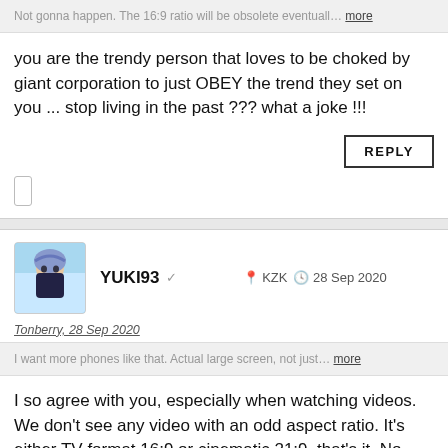Not gonna happen. The 16:9 ratio will be obsolete eventuall... more
you are the trendy person that loves to be choked by giant corporation to just OBEY the trend they set on you ... stop living in the past ??? what a joke !!!
REPLY
YUKI93 ✓   KZK   28 Sep 2020
Tonberry, 28 Sep 2020
I want more phones like that. Actual large screen, not just... more
I so agree with you, especially when watching videos. We don't see any video with an odd aspect ratio. It's either TV format 16:9 or cinematic 21:9, that's it. No 19:9 or 19.5:9 or 20:9 nonsense.